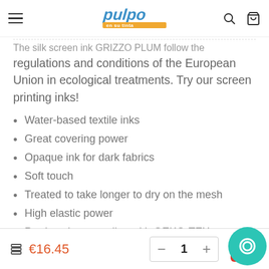pulpo en su tinta — navigation header
regulations and conditions of the European Union in ecological treatments. Try our screen printing inks!
Water-based textile inks
Great covering power
Opaque ink for dark fabrics
Soft touch
Treated to take longer to dry on the mesh
High elastic power
Product that complies with OEKO-TEX
€16.45  — 1 + [cart button]